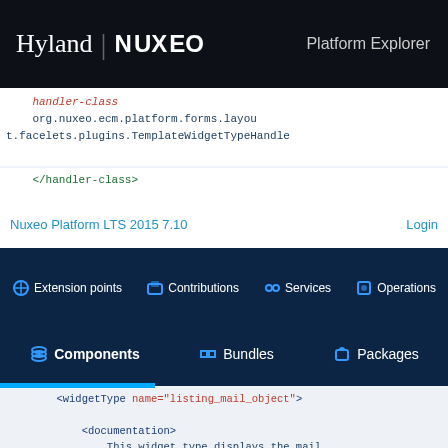Hyland | NUXEO  Platform Explorer
handler-class
    org.nuxeo.ecm.platform.forms.layout.facelets.plugins.TemplateWidgetTypeHandle
</handler-class>
Nuxeo Platform LTS 2015 7.10    Login
Extension points  Contributions  Services  Operations
Components  Bundles  Packages
<widgetType name="listing_mail_object">
    <documentation>
        This widget type displays the mail object and the sending date.
        <br />
        It requires the following fields configuration:
        <ul>
            <li>
                first field mapping the dublincore title property.
            </li>